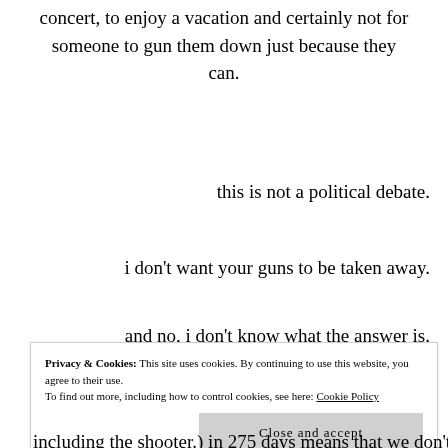concert, to enjoy a vacation and certainly not for someone to gun them down just because they can.
this is not a political debate.
i don't want your guns to be taken away.
and no, i don't know what the answer is.
Privacy & Cookies: This site uses cookies. By continuing to use this website, you agree to their use.
To find out more, including how to control cookies, see here: Cookie Policy
including the shooter.) in 275 days means that we don't